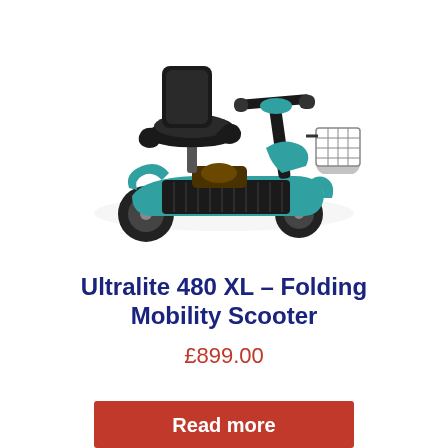[Figure (photo): A teal/turquoise folding mobility scooter with black seat, armrests, handlebar controls, footrest platform, four wheels, and a wire basket at the front.]
Ultralite 480 XL – Folding Mobility Scooter
£899.00
Read more